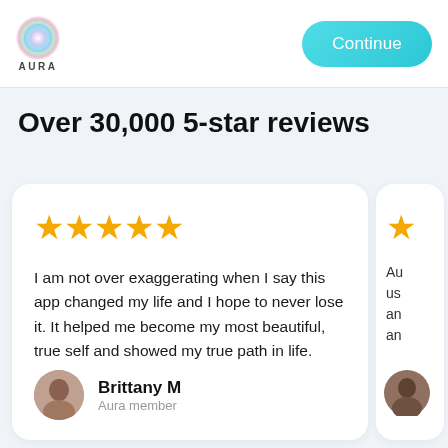AURA | Continue
Over 30,000 5-star reviews
I am not over exaggerating when I say this app changed my life and I hope to never lose it. It helped me become my most beautiful, true self and showed my true path in life.
Brittany M
Aura member